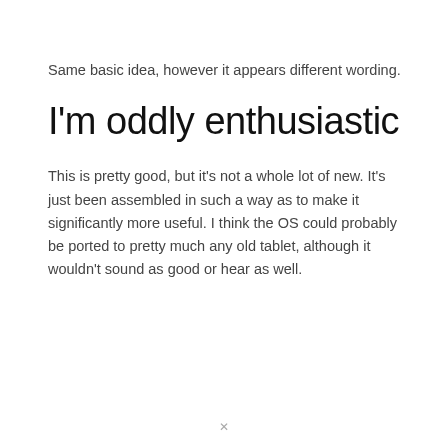Same basic idea, however it appears different wording.
I'm oddly enthusiastic
This is pretty good, but it's not a whole lot of new. It's just been assembled in such a way as to make it significantly more useful. I think the OS could probably be ported to pretty much any old tablet, although it wouldn't sound as good or hear as well.